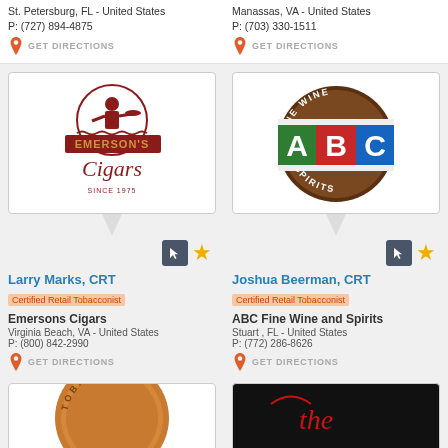St. Petersburg, FL - United States
P: (727) 894-4875
Manassas, VA - United States
P: (703) 330-1511
[Figure (logo): Emerson's Cigars logo - dark red silhouette of butler holding tray inside circle, text EMERSON'S CIGARS SINCE 1975]
[Figure (logo): ABC Fine Wine and Spirits logo - brown circular badge with green, red, blue letter blocks A, B, C]
Larry Marks, CRT
Certified Retail Tobacconist
Emersons Cigars
Virginia Beach, VA - United States
P: (800) 842-2990
Joshua Beerman, CRT
Certified Retail Tobacconist
ABC Fine Wine and Spirits
Stuart , FL - United States
P: (772) 286-8626
[Figure (logo): Partial coin logo - Tobacconist text visible around copper coin edge]
[Figure (logo): Partial logo - black background with cursive red/white 'the' text]